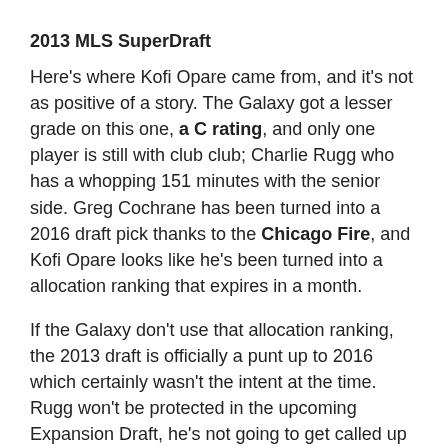2013 MLS SuperDraft
Here's where Kofi Opare came from, and it's not as positive of a story. The Galaxy got a lesser grade on this one, a C rating, and only one player is still with club club; Charlie Rugg who has a whopping 151 minutes with the senior side. Greg Cochrane has been turned into a 2016 draft pick thanks to the Chicago Fire, and Kofi Opare looks like he's been turned into a allocation ranking that expires in a month.
If the Galaxy don't use that allocation ranking, the 2013 draft is officially a punt up to 2016 which certainly wasn't the intent at the time. Rugg won't be protected in the upcoming Expansion Draft, he's not going to get called up to the senior side this season, and he could easily end up being a USL Pro lifer.